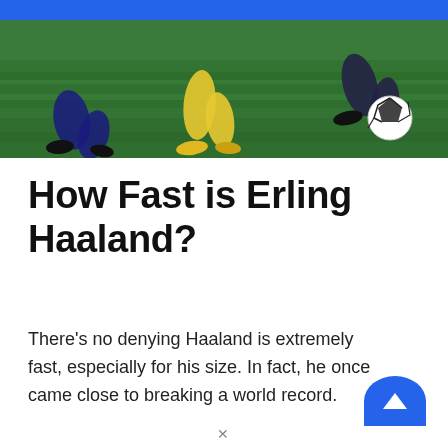[Figure (photo): Soccer/football action photo showing players' legs near a ball on a green grass pitch, taken from a low angle. One player in yellow and one in dark kit visible.]
How Fast is Erling Haaland?
There's no denying Haaland is extremely fast, especially for his size. In fact, he once came close to breaking a world record.